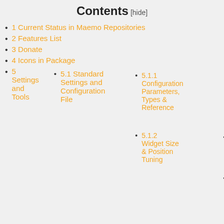Contents [hide]
1 Current Status in Maemo Repositories
2 Features List
3 Donate
4 Icons in Package
5 Settings and Tools
5.1 Standard Settings and Configuration File
5.1.1 Configuration Parameters, Types & Reference
5.1.1.1 Widget Type, Visibility, Status and Associated Co
5.1.2 Widget Size & Position Tuning
5.1.2.1 Status Background Colors & Images
5.1.2.2 Beecon Statuses: Images, Scale, Background Co
5.1.2.3 Command Title Settings
5.1.2.4 Command Results Settings
5.1.2.5 Progress Animation
5.1.2.6 Update Policy
5.1.2.7 DBUS Event Monitoring
5.1.2.8 Remember Me Value
5.1.2.9 Not Present in Settings Dialog Box